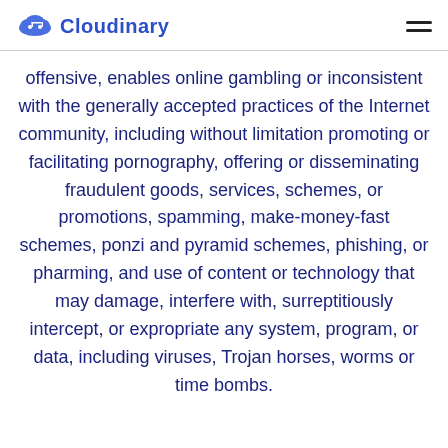Cloudinary
offensive, enables online gambling or inconsistent with the generally accepted practices of the Internet community, including without limitation promoting or facilitating pornography, offering or disseminating fraudulent goods, services, schemes, or promotions, spamming, make-money-fast schemes, ponzi and pyramid schemes, phishing, or pharming, and use of content or technology that may damage, interfere with, surreptitiously intercept, or expropriate any system, program, or data, including viruses, Trojan horses, worms or time bombs.